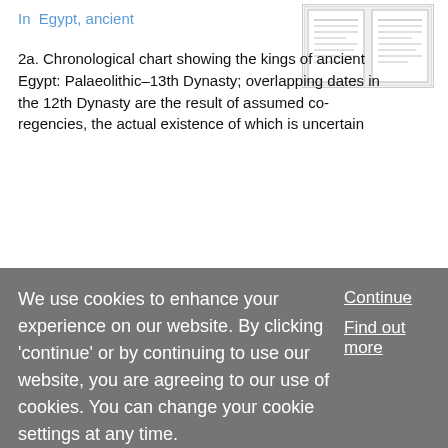In  Egypt, ancient
[Figure (other): Thumbnail image of a chronological chart document, showing two pages side by side with text/chart content]
2a. Chronological chart showing the kings of ancient Egypt: Palaeolithic–13th Dynasty; overlapping dates in the 12th Dynasty are the result of assumed co-regencies, the actual existence of which is uncertain
Article
a.r. group
Ewa Mikina
Published online: 2003
We use cookies to enhance your experience on our website. By clicking 'continue' or by continuing to use our website, you are agreeing to our use of cookies. You can change your cookie settings at any time.